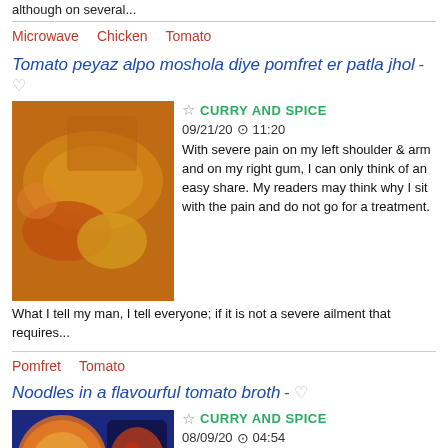although on several...
Microwave   Chicken   Tomato
Tomato peyaz alpo moshola diye pomfret er patla jhol - ♡
[Figure (photo): Photo of Indian fish curry dish in a baking tray with yellow rice and a bowl of curry]
★ CURRY AND SPICE
09/21/20 ⊙ 11:20
With severe pain on my left shoulder & arm and on my right gum, I can only think of an easy share. My readers may think why I sit with the pain and do not go for a treatment.
What I tell my man, I tell everyone; if it is not a severe ailment that requires...
Pomfret   Tomato
Noodles in a flavourful tomato broth - ♡
[Figure (photo): Photo of noodles dish in a bowl with shrimp and vegetables in a dark container]
★ CURRY AND SPICE
08/09/20 ⊙ 04:54
Today is a day of celebration in this island. As a resident foreigner, it feels